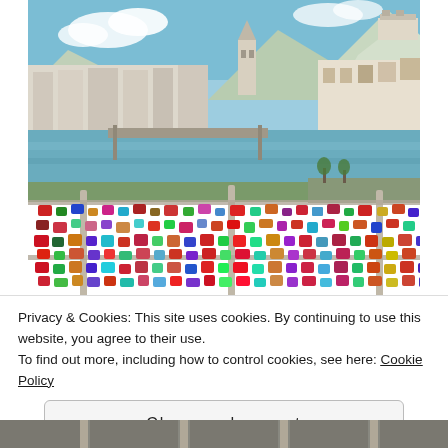[Figure (photo): Photograph of a bridge railing covered in colorful padlocks (love locks) with a river, bridges, white European buildings, snow-capped mountains, and a hilltop fortress in the background under a clear blue sky — Salzburg, Austria.]
Privacy & Cookies: This site uses cookies. By continuing to use this website, you agree to their use.
To find out more, including how to control cookies, see here: Cookie Policy
Close and accept
[Figure (photo): Partial bottom strip of another photograph visible at the bottom of the page.]